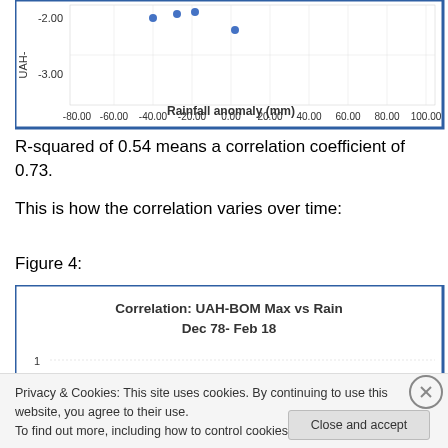[Figure (continuous-plot): Partial scatter plot showing bottom portion: y-axis labeled 'UAH-' with values -2.00 and -3.00 visible, x-axis 'Rainfall anomaly (mm)' from -80 to 100, with a few blue dots scattered in the upper portion of the visible area.]
R-squared of 0.54 means a correlation coefficient of 0.73.
This is how the correlation varies over time:
Figure 4:
[Figure (continuous-plot): Chart titled 'Correlation: UAH-BOM Max vs Rain Dec 78- Feb 18', partially visible. Y-axis starts at 1. Bottom of chart cut off by cookie consent banner.]
Privacy & Cookies: This site uses cookies. By continuing to use this website, you agree to their use.
To find out more, including how to control cookies, see here: Cookie Policy